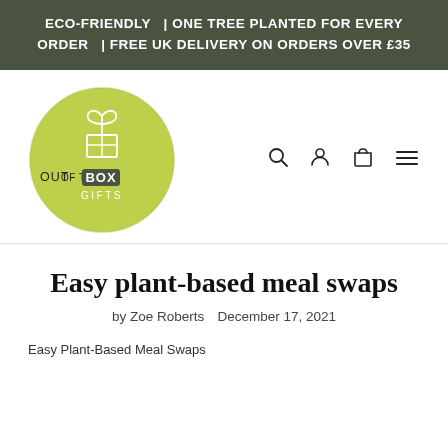ECO-FRIENDLY  | ONE TREE PLANTED FOR EVERY ORDER  | FREE UK DELIVERY ON ORDERS OVER £35
[Figure (logo): Out of the Box Gifts logo — circular yellow-green badge with text 'OUT OF THE BOX GIFTS']
Easy plant-based meal swaps
by Zoe Roberts   December 17, 2021
Easy Plant-Based Meal Swaps